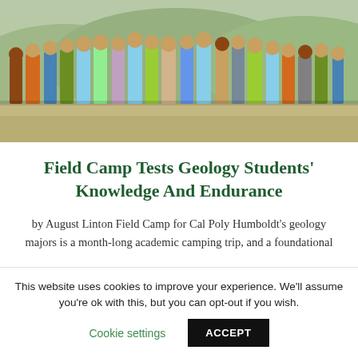[Figure (photo): Group photo of geology students and instructors standing together outdoors in a rugged, arid landscape with sparse vegetation and mountains in the background.]
Field Camp Tests Geology Students' Knowledge And Endurance
by August Linton Field Camp for Cal Poly Humboldt's geology majors is a month-long academic camping trip, and a foundational
This website uses cookies to improve your experience. We'll assume you're ok with this, but you can opt-out if you wish. Cookie settings ACCEPT